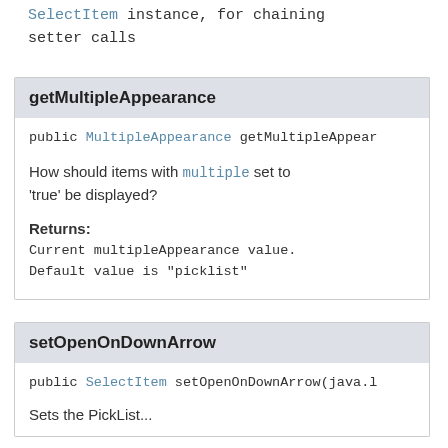SelectItem instance, for chaining setter calls
getMultipleAppearance
public MultipleAppearance getMultipleAppear...
How should items with multiple set to 'true' be displayed?
Returns:
Current multipleAppearance value. Default value is "picklist"
setOpenOnDownArrow
public SelectItem setOpenOnDownArrow(java....
Sets the PickList...